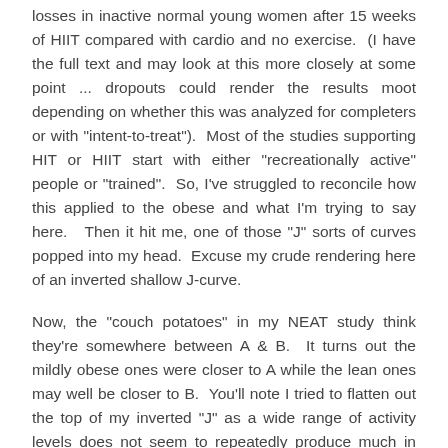losses in inactive normal young women after 15 weeks of HIIT compared with cardio and no exercise.  (I have the full text and may look at this more closely at some point ... dropouts could render the results moot depending on whether this was analyzed for completers or with "intent-to-treat").  Most of the studies supporting HIT or HIIT start with either "recreationally active" people or "trained".  So, I've struggled to reconcile how this applied to the obese and what I'm trying to say here.   Then it hit me, one of those "J" sorts of curves popped into my head.  Excuse my crude rendering here of an inverted shallow J-curve.
Now, the "couch potatoes" in my NEAT study think they're somewhere between A & B.  It turns out the mildly obese ones were closer to A while the lean ones may well be closer to B.  You'll note I tried to flatten out the top of my inverted "J" as a wide range of activity levels does not seem to repeatedly produce much in the way of improvements past some point.  On this curve, just adding 6 minutes a day of intervals is